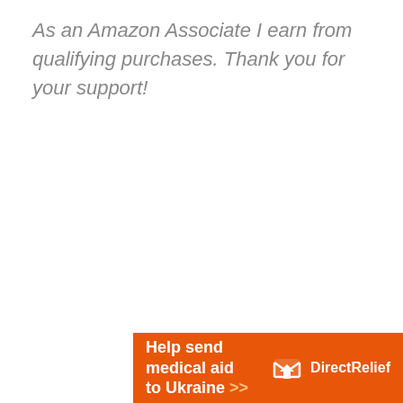As an Amazon Associate I earn from qualifying purchases. Thank you for your support!
[Figure (other): Orange banner advertisement for Direct Relief charity: 'Help send medical aid to Ukraine >>' with Direct Relief logo on right side]